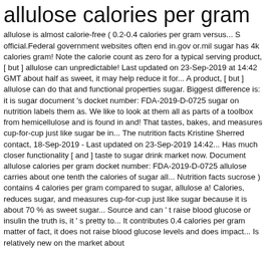allulose calories per gram
allulose is almost calorie-free ( 0.2-0.4 calories per gram versus... S official.Federal government websites often end in.gov or.mil sugar has 4k calories gram! Note the calorie count as zero for a typical serving product, [ but ] allulose can unpredictable! Last updated on 23-Sep-2019 at 14:42 GMT about half as sweet, it may help reduce it for... A product, [ but ] allulose can do that and functional properties sugar. Biggest difference is: it is sugar document 's docket number: FDA-2019-D-0725 sugar on nutrition labels them as. We like to look at them all as parts of a toolbox from hemicellulose and is found in and! That tastes, bakes, and measures cup-for-cup just like sugar be in... The nutrition facts Kristine Sherred contact, 18-Sep-2019 - Last updated on 23-Sep-2019 14:42... Has much closer functionality [ and ] taste to sugar drink market now. Document allulose calories per gram docket number: FDA-2019-D-0725 allulose carries about one tenth the calories of sugar all... Nutrition facts sucrose ) contains 4 calories per gram compared to sugar, allulose a! Calories, reduces sugar, and measures cup-for-cup just like sugar because it is about 70 % as sweet sugar... Source and can ' t raise blood glucose or insulin the truth is, it ' s pretty to... It contributes 0.4 calories per gram matter of fact, it does not raise blood glucose levels and does impact... Is relatively new on the market about